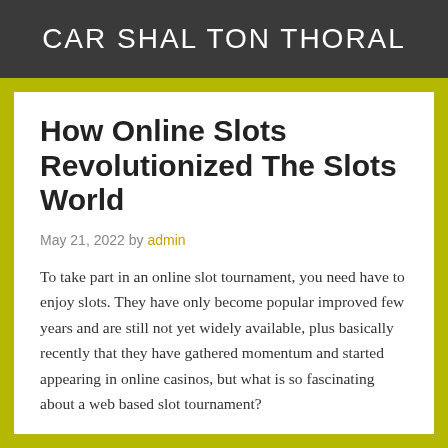CAR SHAL TON THORAL
How Online Slots Revolutionized The Slots World
May 21, 2022 by admin
To take part in an online slot tournament, you need have to enjoy slots. They have only become popular improved few years and are still not yet widely available, plus basically recently that they have gathered momentum and started appearing in online casinos, but what is so fascinating about a web based slot tournament?